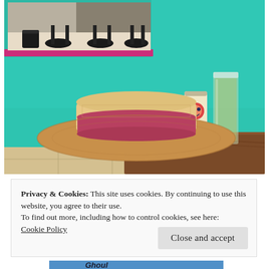[Figure (photo): A straw panama hat with a pink/red band sits on a wooden table inside a cafe or restaurant with bright teal/turquoise walls. A colorful beer can and a glass of beer are visible on the table behind the hat. In the background there is a mirror on a magenta/pink shelf reflecting bar stools.]
Privacy & Cookies: This site uses cookies. By continuing to use this website, you agree to their use.
To find out more, including how to control cookies, see here:
Cookie Policy
[Figure (photo): Partial view of a second photo at the bottom of the page showing what appears to be a blue sky or image with stylized script text partially visible.]